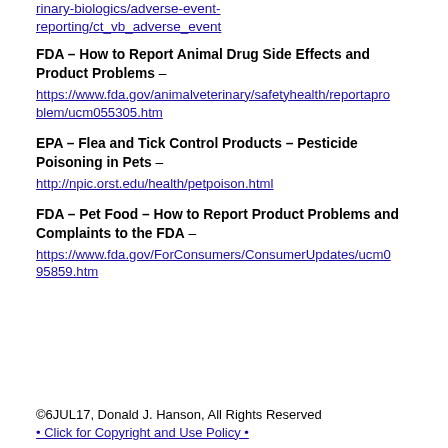rinary-biologics/adverse-event-reporting/ct_vb_adverse_event
FDA – How to Report Animal Drug Side Effects and Product Problems – https://www.fda.gov/animalveterinary/safetyhealth/reportaproblem/ucm055305.htm
EPA – Flea and Tick Control Products – Pesticide Poisoning in Pets – http://npic.orst.edu/health/petpoison.html
FDA – Pet Food – How to Report Product Problems and Complaints to the FDA – https://www.fda.gov/ForConsumers/ConsumerUpdates/ucm095859.htm
©6JUL17, Donald J. Hanson, All Rights Reserved
• Click for Copyright and Use Policy •